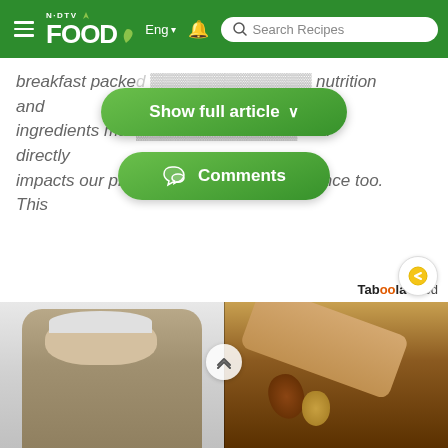NDTV Food — Search Recipes
breakfast packed with nutrition and ingredients make and directly impacts our productivity and performance too. This
[Figure (screenshot): Green 'Show full article' button with chevron down arrow]
[Figure (screenshot): Green 'Comments' button with speech bubble icon]
Taboola Feed
[Figure (photo): Split image: left side shows an older man in a suit and glasses in a hallway; right side shows hands handling chocolate Easter eggs]